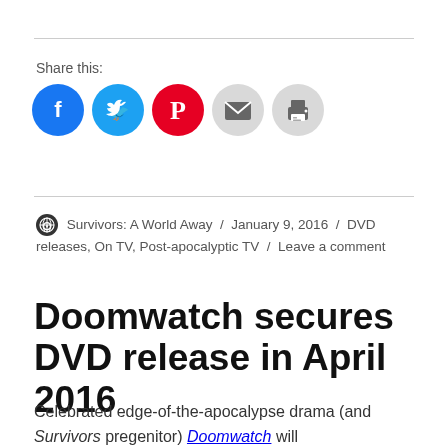Share this:
[Figure (infographic): Row of social sharing icon buttons: Facebook (blue), Twitter (light blue), Pinterest (red), Email (grey), Print (grey)]
Survivors: A World Away / January 9, 2016 / DVD releases, On TV, Post-apocalyptic TV / Leave a comment
Doomwatch secures DVD release in April 2016
Celebrated edge-of-the-apocalypse drama (and Survivors pregenitor) Doomwatch will